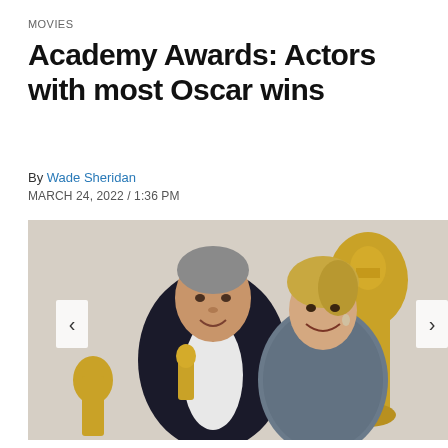MOVIES
Academy Awards: Actors with most Oscar wins
By Wade Sheridan
MARCH 24, 2022 / 1:36 PM
[Figure (photo): A man in a black tuxedo with bow tie holding a gold Oscar statuette smiles at a woman in a sparkly dress, who smiles back. A large gold Oscar statue is visible in the background.]